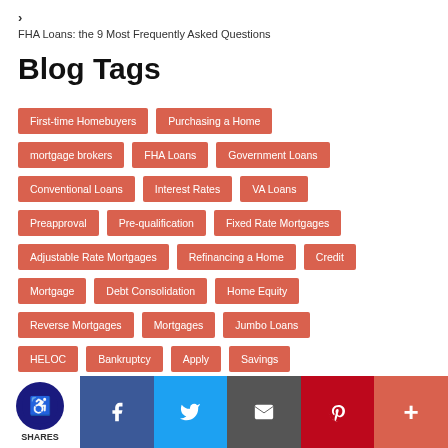> FHA Loans: the 9 Most Frequently Asked Questions
Blog Tags
First-time Homebuyers
Purchasing a Home
mortgage brokers
FHA Loans
Government Loans
Conventional Loans
Interest Rates
VA Loans
Preapproval
Pre-qualification
Fixed Rate Mortgages
Adjustable Rate Mortgages
Refinancing a Home
Credit
Mortgage
Debt Consolidation
Home Equity
Reverse Mortgages
Mortgages
Jumbo Loans
HELOC
Bankruptcy
Apply
Savings
Home Loans
Doctors
Debt
Closing Costs